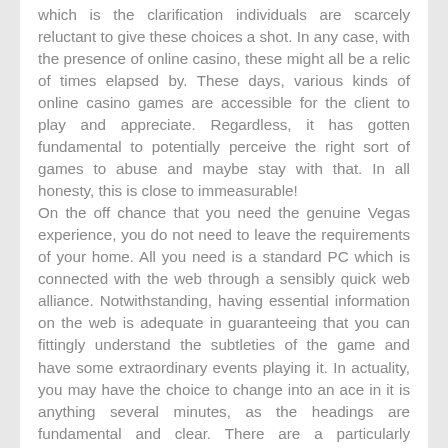which is the clarification individuals are scarcely reluctant to give these choices a shot. In any case, with the presence of online casino, these might all be a relic of times elapsed by. These days, various kinds of online casino games are accessible for the client to play and appreciate. Regardless, it has gotten fundamental to potentially perceive the right sort of games to abuse and maybe stay with that. In all honesty, this is close to immeasurable! On the off chance that you need the genuine Vegas experience, you do not need to leave the requirements of your home. All you need is a standard PC which is connected with the web through a sensibly quick web alliance. Notwithstanding, having essential information on the web is adequate in guaranteeing that you can fittingly understand the subtleties of the game and have some extraordinary events playing it. In actuality, you may have the choice to change into an ace in it is anything several minutes, as the headings are fundamental and clear. There are a particularly tremendous number of various online